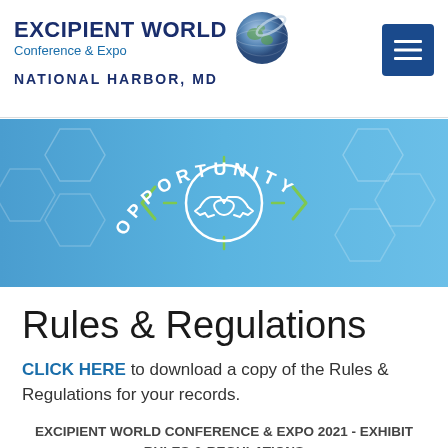EXCIPIENT WORLD Conference & Expo NATIONAL HARBOR, MD
[Figure (illustration): Blue banner with hexagon pattern background, arched text reading OPPORTUNITY, handshake icon in circle, and green chevron/bracket decorations]
Rules & Regulations
CLICK HERE to download a copy of the Rules & Regulations for your records.
EXCIPIENT WORLD CONFERENCE & EXPO 2021 - EXHIBIT RULES & REGULATIONS
Gaylord National Resort & Convention Center, September 22-24, 2021